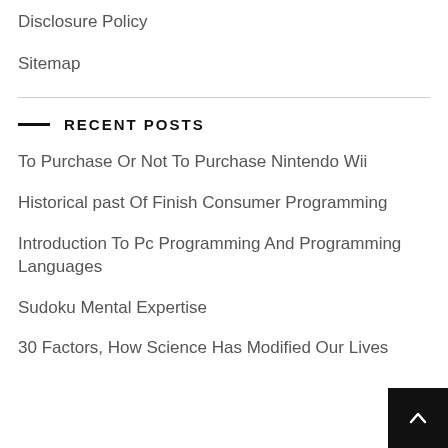Disclosure Policy
Sitemap
RECENT POSTS
To Purchase Or Not To Purchase Nintendo Wii
Historical past Of Finish Consumer Programming
Introduction To Pc Programming And Programming Languages
Sudoku Mental Expertise
30 Factors, How Science Has Modified Our Lives